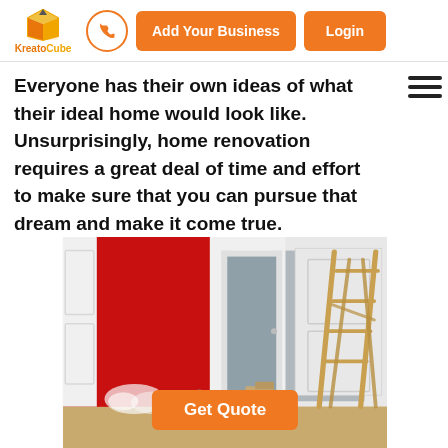KreatoCube | Add Your Business | Login
Everyone has their own ideas of what their ideal home would look like. Unsurprisingly, home renovation requires a great deal of time and effort to make sure that you can pursue that dream and make it come true.
[Figure (photo): Home renovation photo showing a room with a red-painted wall in progress, white paneled walls, a doorway, cardboard boxes, and a wooden step ladder]
Get Quote